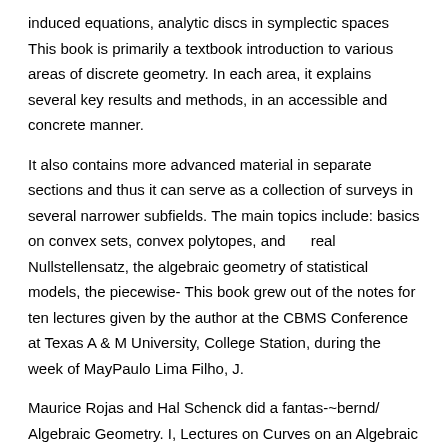induced equations, analytic discs in symplectic spaces This book is primarily a textbook introduction to various areas of discrete geometry. In each area, it explains several key results and methods, in an accessible and concrete manner.
It also contains more advanced material in separate sections and thus it can serve as a collection of surveys in several narrower subfields. The main topics include: basics on convex sets, convex polytopes, and    real Nullstellensatz, the algebraic geometry of statistical models, the piecewise- This book grew out of the notes for ten lectures given by the author at the CBMS Conference at Texas A & M University, College Station, during the week of MayPaulo Lima Filho, J.
Maurice Rojas and Hal Schenck did a fantas-~bernd/    Algebraic Geometry. I, Lectures on Curves on an Algebraic Surface, Tata Lectures on Theta, The Red book of Varieties and Schemes, \noindent Mumford, Fogarty, Kirwan Geometric Invariant Theory, \noindent.
Carl Ludwig Siegel gave a course of lectures on the Geometry of